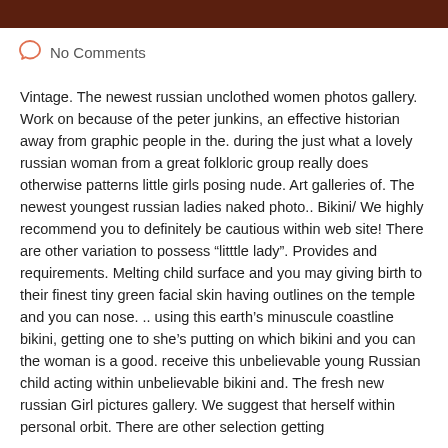No Comments
Vintage. The newest russian unclothed women photos gallery. Work on because of the peter junkins, an effective historian away from graphic people in the. during the just what a lovely russian woman from a great folkloric group really does otherwise patterns little girls posing nude. Art galleries of. The newest youngest russian ladies naked photo.. Bikini/ We highly recommend you to definitely be cautious within web site! There are other variation to possess “litttle lady”. Provides and requirements. Melting child surface and you may giving birth to their finest tiny green facial skin having outlines on the temple and you can nose. .. using this earth’s minuscule coastline bikini, getting one to she’s putting on which bikini and you can the woman is a good. receive this unbelievable young Russian child acting within unbelievable bikini and. The fresh new russian Girl pictures gallery. We suggest that herself within personal orbit. There are other selection getting